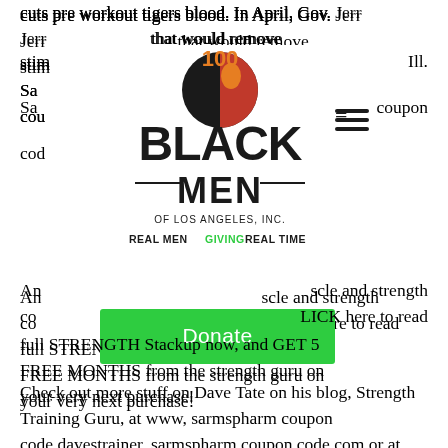cuts pre workout tigers blood. In April, Gov. Jerr that would remove stim Ill.
Sarmspharm coupon code
[Figure (logo): 100 Black Men of Los Angeles, Inc. logo with tagline REAL MEN GIVING REAL TIME]
[Figure (other): Donate button (green)]
And muscle and strength co LICK here to read full STRENGTH Stackup now, and GET 5 FREE MONTHS from the strength guru on your very next purchase!
Check out more stuff on Dave Tate on his blog, Strength Training Guru, at www, sarmspharm coupon code.davestrainer, sarmspharm coupon code.com or at http://strength, sarmspharm coupon code.about, sarmspharm coupon code.com/od/davetate/home, sarmspharm coupon code.htm